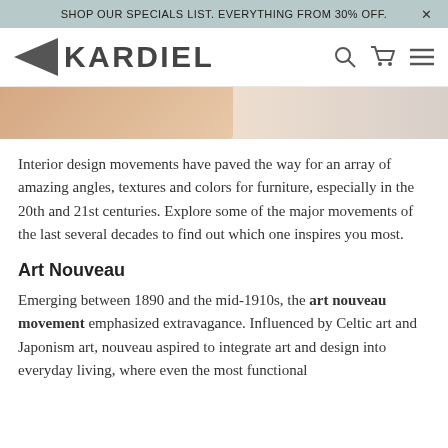SHOP OUR SPECIALS LIST. EVERYTHING FROM 30% OFF.
[Figure (logo): Kardiel brand logo with left-pointing arrow/chevron and the text KARDIEL, with search, cart, and hamburger menu icons on the right]
[Figure (photo): Partial hero image showing furniture or decor in warm beige and peach tones]
Interior design movements have paved the way for an array of amazing angles, textures and colors for furniture, especially in the 20th and 21st centuries. Explore some of the major movements of the last several decades to find out which one inspires you most.
Art Nouveau
Emerging between 1890 and the mid-1910s, the art nouveau movement emphasized extravagance. Influenced by Celtic art and Japonism art, nouveau aspired to integrate art and design into everyday living, where even the most functional